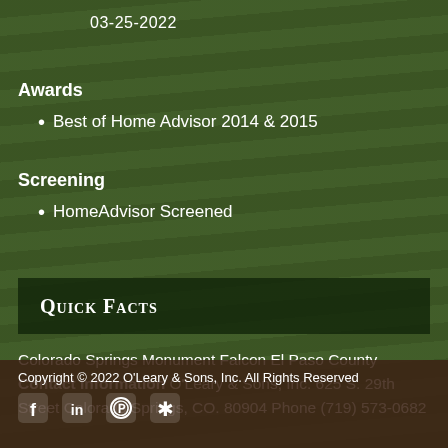03-25-2022
Awards
Best of Home Advisor 2014 & 2015
Screening
HomeAdvisor Screened
Quick Facts
Colorado Springs Monument Falcon El Paso County Contact Information O'Leary & Sons, Inc. 625 S. 29th Street Colorado Springs, CO. 80904 Phone (719) 573-0682
Copyright © 2022 O'Leary & Sons, Inc. All Rights Reserved